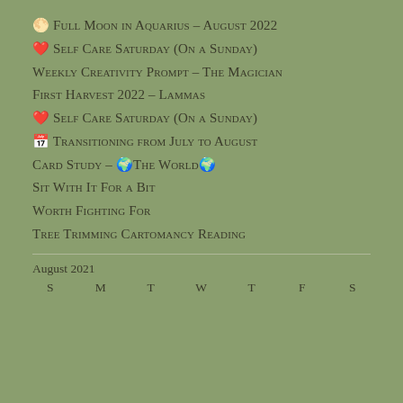🌕 Full Moon in Aquarius – August 2022
❤️ Self Care Saturday (On a Sunday)
Weekly Creativity Prompt – The Magician
First Harvest 2022 – Lammas
❤️ Self Care Saturday (On a Sunday)
📅 Transitioning from July to August
Card Study – 🌍The World🌍
Sit With It For a Bit
Worth Fighting For
Tree Trimming Cartomancy Reading
August 2021
| S | M | T | W | T | F | S |
| --- | --- | --- | --- | --- | --- | --- |